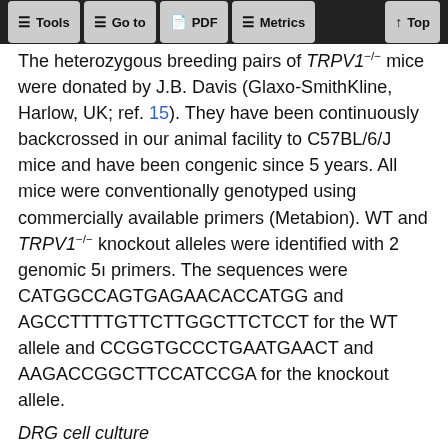Tools | Go to | PDF | Metrics | Top
The heterozygous breeding pairs of TRPV1−/− mice were donated by J.B. Davis (Glaxo-SmithKline, Harlow, UK; ref. 15). They have been continuously backcrossed in our animal facility to C57BL/6/J mice and have been congenic since 5 years. All mice were conventionally genotyped using commercially available primers (Metabion). WT and TRPV1−/− knockout alleles were identified with 2 genomic 5ı primers. The sequences were CATGGCCAGTGAGAACACCATGG and AGCCTTTTGTTCTTGGCTTCTCCT for the WT allele and CCGGTGCCCTGAATGAACT and AAGACCGGCTTCCATCCGA for the knockout allele.
DRG cell culture
DRGs were harvested from the lumbar segments